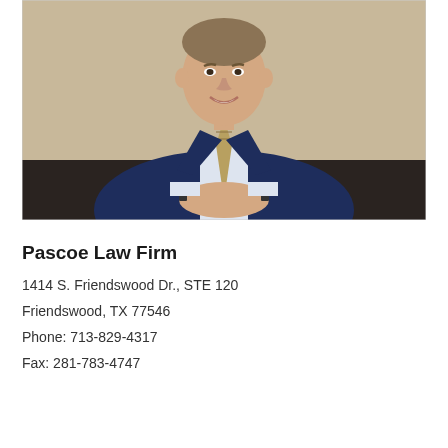[Figure (photo): Professional headshot of a man in a navy blue suit and gold patterned tie, sitting at a dark wooden desk with hands clasped, smiling at the camera. Background shows a beige wall.]
Pascoe Law Firm
1414 S. Friendswood Dr., STE 120
Friendswood, TX 77546
Phone: 713-829-4317
Fax: 281-783-4747